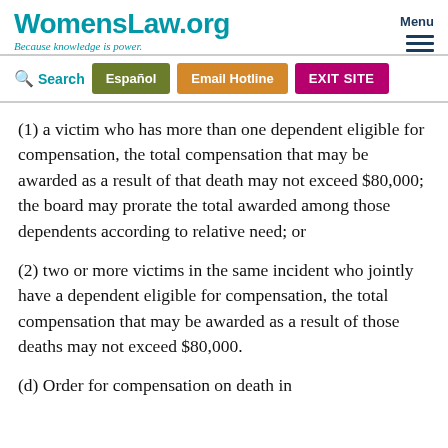WomensLaw.org — Because knowledge is power.
(1) a victim who has more than one dependent eligible for compensation, the total compensation that may be awarded as a result of that death may not exceed $80,000; the board may prorate the total awarded among those dependents according to relative need; or
(2) two or more victims in the same incident who jointly have a dependent eligible for compensation, the total compensation that may be awarded as a result of those deaths may not exceed $80,000.
(d) Order for payment of compensation on death in...